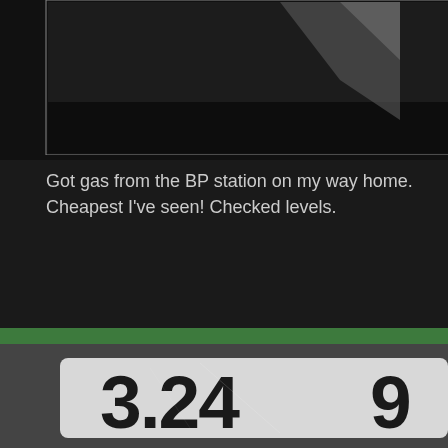[Figure (photo): Close-up photo of a dark surface, partially cropped at top of page]
Got gas from the BP station on my way home. Cheapest I've seen! Checked levels.
[Figure (photo): Close-up photo of a gas station pump digital display showing the price 3.249]